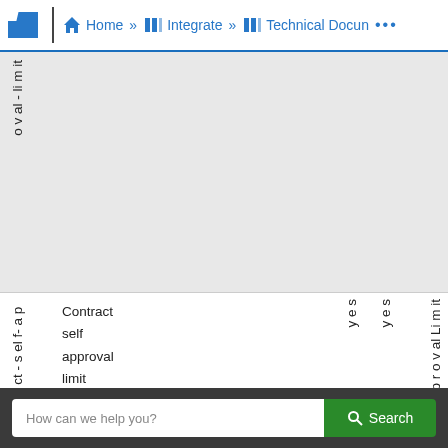Home » Integrate » Technical Docun ...
|  | Description | yes | yes | Approval Limit |
| --- | --- | --- | --- | --- |
| o v al - li m it |  |  |  |  |
| co ntr a ct- s el f- a p p r | Contract self approval limit | yes | yes | A p p r o v al Li m it |
How can we help you?
Search